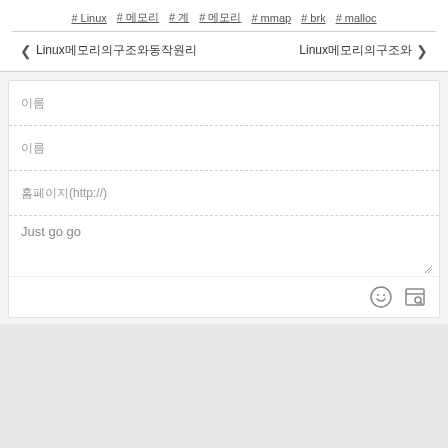# Linux # 메모리 # 系 # 메모리 # mmap # brk # malloc
❮ Linux메모리의구조와동작원리 Linux메모리의구조와 ❯
이름
이름
홈페이지(http://)
Just go go